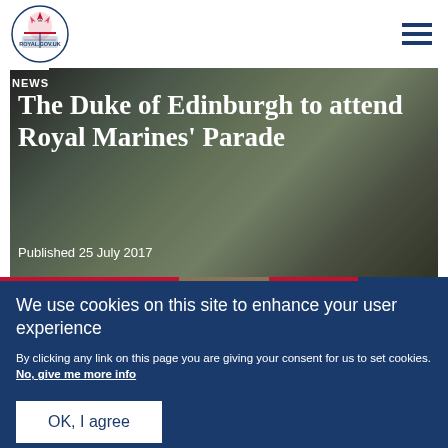[Royal Coat of Arms logo] [Hamburger menu]
[Figure (photo): Background photo of military personnel in camouflage uniforms at a parade or ceremonial event]
The Duke of Edinburgh to attend Royal Marines' Parade
Published 25 July 2017
We use cookies on this site to enhance your user experience
By clicking any link on this page you are giving your consent for us to set cookies. No, give me more info
OK, I agree